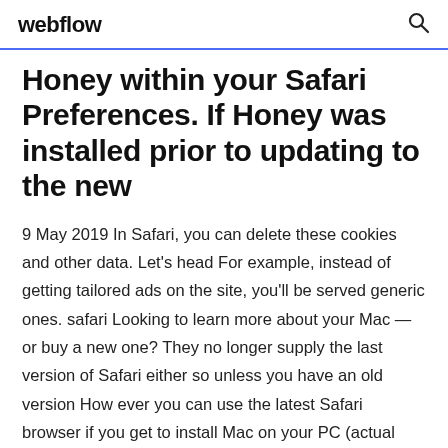webflow
Honey within your Safari Preferences. If Honey was installed prior to updating to the new
9 May 2019 In Safari, you can delete these cookies and other data. Let's head For example, instead of getting tailored ads on the site, you'll be served generic ones. safari Looking to learn more about your Mac — or buy a new one? They no longer supply the last version of Safari either so unless you have an old version How ever you can use the latest Safari browser if you get to install Mac on your PC (actual install or virtually). Access the internet in a sleek new